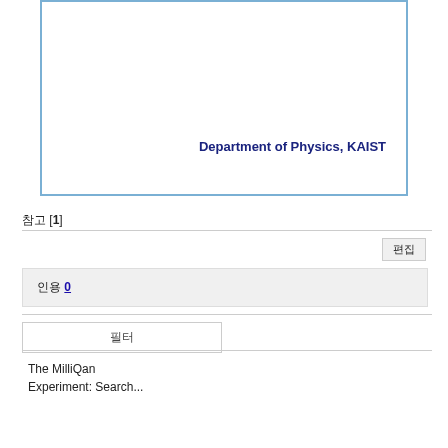[Figure (other): A bordered box (light blue border) representing an image or slide area with the text 'Department of Physics, KAIST' in bold dark blue at the bottom right.]
참고 [1]
편집
인용 0
필터
The MilliQan
Experiment: Search...